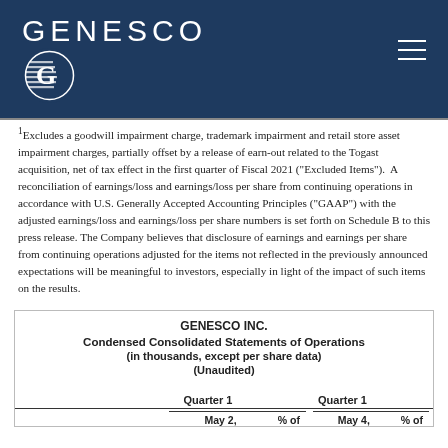GENESCO
1Excludes a goodwill impairment charge, trademark impairment and retail store asset impairment charges, partially offset by a release of earn-out related to the Togast acquisition, net of tax effect in the first quarter of Fiscal 2021 ("Excluded Items"). A reconciliation of earnings/loss and earnings/loss per share from continuing operations in accordance with U.S. Generally Accepted Accounting Principles ("GAAP") with the adjusted earnings/loss and earnings/loss per share numbers is set forth on Schedule B to this press release. The Company believes that disclosure of earnings and earnings per share from continuing operations adjusted for the items not reflected in the previously announced expectations will be meaningful to investors, especially in light of the impact of such items on the results.
|  | Quarter 1 | % of | Quarter 1 | % of |
| --- | --- | --- | --- | --- |
| May 2, |  | May 4, |  |